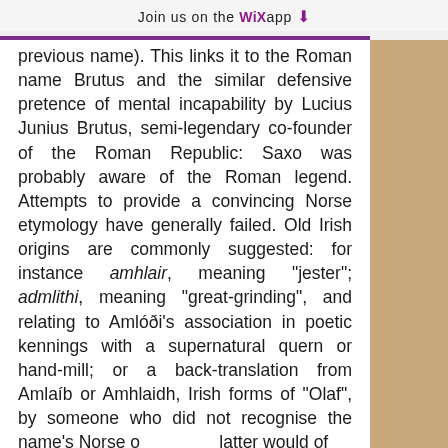Join us on the WiX app ↓
previous name). This links it to the Roman name Brutus and the similar defensive pretence of mental incapability by Lucius Junius Brutus, semi-legendary co-founder of the Roman Republic: Saxo was probably aware of the Roman legend. Attempts to provide a convincing Norse etymology have generally failed. Old Irish origins are commonly suggested: for instance amhlair, meaning "jester"; admlithi, meaning "great-grinding", and relating to Amlóði's association in poetic kennings with a supernatural quern or hand-mill; or a back-translation from Amlaíb or Amhlaidh, Irish forms of "Olaf", by someone who did not recognise the name's Norse o... latter would of